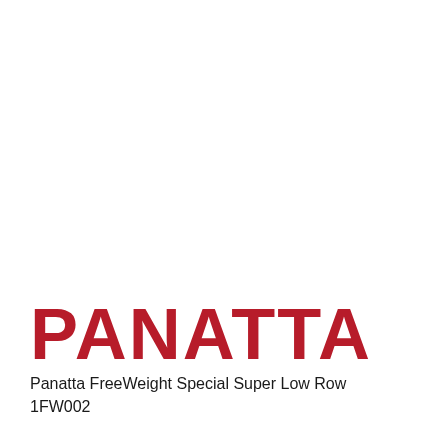PANATTA
Panatta FreeWeight Special Super Low Row
1FW002